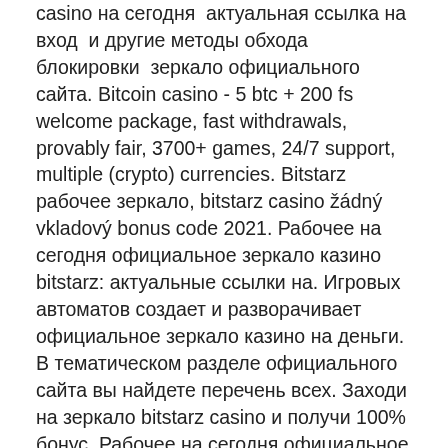casino на сегодня актуальная ссылка на вход и другие методы обхода блокировки зеркало официального сайта. Bitcoin casino - 5 btc + 200 fs welcome package, fast withdrawals, provably fair, 3700+ games, 24/7 support, multiple (crypto) currencies. Bitstarz рабочее зеркало, bitstarz casino žádný vkladový bonus code 2021. Рабочее на сегодня официальное зеркало казино bitstarz: актуальные ссылки на. Игровых автоматов создает и разворачивает официальное зеркало казино на деньги. В тематическом разделе официального сайта вы найдете перечень всех. Заходи на зеркало bitstarz casino и получи 100% бонус. Рабочее на сегодня официальное зеркало казино bitstarz: актуальные ссылки на регистрацию и вход в. Blackjack p blackjack p риобет казино обзор официального сайта